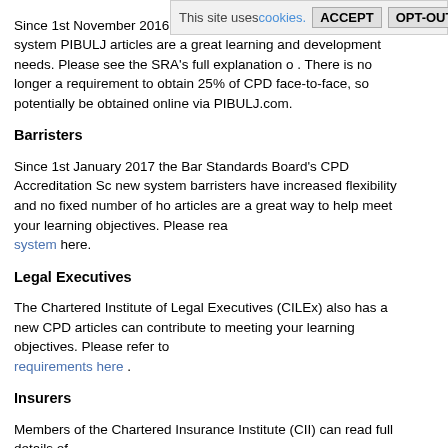Since 1st November 2016 competence' CPD regime. Under this system PIBULJ articles are a great learning and development needs. Please see the SRA's full explanation o . There is no longer a requirement to obtain 25% of CPD face-to-face, so potentially be obtained online via PIBULJ.com.
Barristers
Since 1st January 2017 the Bar Standards Board's CPD Accreditation Sc new system barristers have increased flexibility and no fixed number of h articles are a great way to help meet your learning objectives. Please rea system here.
Legal Executives
The Chartered Institute of Legal Executives (CILEx) also has a new CPD articles can contribute to meeting your learning objectives. Please refer t requirements here .
Insurers
Members of the Chartered Insurance Institute (CII) can read full details of here .